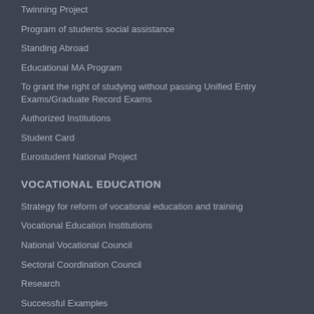Twinning Project
Program of students social assistance
Standing Abroad
Educational MA Program
To grant the right of studying without passing Unified Entry Exams/Graduate Record Exams
Authorized Institutions
Student Card
Eurostudent National Project
VOCATIONAL EDUCATION
Strategy for reform of vocational education and training
Vocational Education Institutions
National Vocational Council
Sectoral Coordination Council
Research
Successful Examples
Law of Georgia on Vocational Education